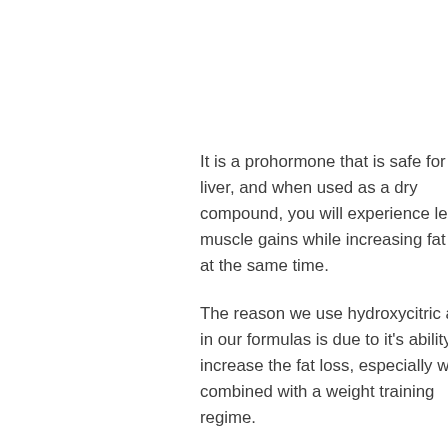It is a prohormone that is safe for the liver, and when used as a dry compound, you will experience lean muscle gains while increasing fat loss at the same time.
The reason we use hydroxycitric acid in our formulas is due to it's ability to increase the fat loss, especially when combined with a weight training regime.
What it Can Do for You
The use of hydroxycitric acid is meant to support the liver rather than simply enhance fat loss naturally.
There are numerous nutrients that are utilized by the liver. The exact amount